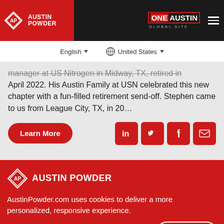AUSTIN POWDER | ONE AUSTIN GLOBAL SITE
English | United States
manager at US Nitrogen in Midway, TX, retired in April 2022. His Austin Family at USN celebrated this new chapter with a fun-filled retirement send-off. Stephen came to us from League City, TX, in 20...
Learn More
AUSTIN POWDER
AustinPowder.com uses cookies to deliver a more personalized, responsive experience.
Accept